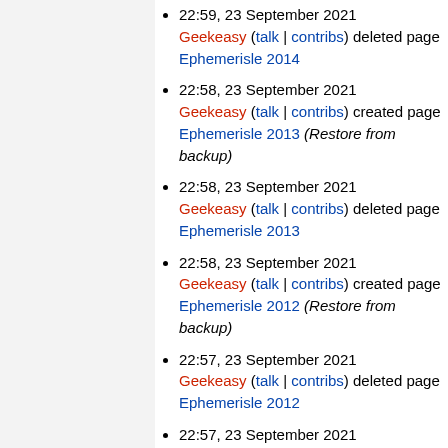22:59, 23 September 2021 Geekeasy (talk | contribs) deleted page Ephemerisle 2014
22:58, 23 September 2021 Geekeasy (talk | contribs) created page Ephemerisle 2013 (Restore from backup)
22:58, 23 September 2021 Geekeasy (talk | contribs) deleted page Ephemerisle 2013
22:58, 23 September 2021 Geekeasy (talk | contribs) created page Ephemerisle 2012 (Restore from backup)
22:57, 23 September 2021 Geekeasy (talk | contribs) deleted page Ephemerisle 2012
22:57, 23 September 2021 Geekeasy (talk | contribs) created page Ephemerisle 2011 (Restore